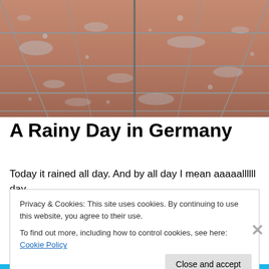[Figure (photo): Close-up photograph of wet terracotta/brick floor tiles with water droplets and puddles, viewed at a perspective angle showing grout lines running diagonally.]
A Rainy Day in Germany
Today it rained all day. And by all day I mean aaaaallllll day
Privacy & Cookies: This site uses cookies. By continuing to use this website, you agree to their use.
To find out more, including how to control cookies, see here: Cookie Policy
Close and accept